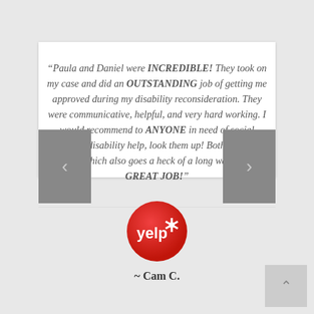“Paula and Daniel were INCREDIBLE! They took on my case and did an OUTSTANDING job of getting me approved during my disability reconsideration. They were communicative, helpful, and very hard working. I would recommend to ANYONE in need of social security disability help, look them up! Both are very nice too, which also goes a heck of a long way with me. GREAT JOB!”
[Figure (logo): Yelp logo - red circular badge with white 'yelp*' text]
~ Cam C.